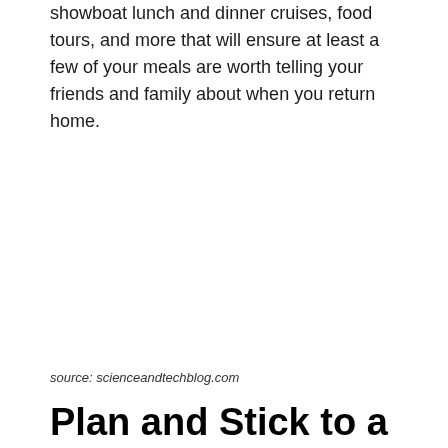showboat lunch and dinner cruises, food tours, and more that will ensure at least a few of your meals are worth telling your friends and family about when you return home.
source: scienceandtechblog.com
Plan and Stick to a Budget